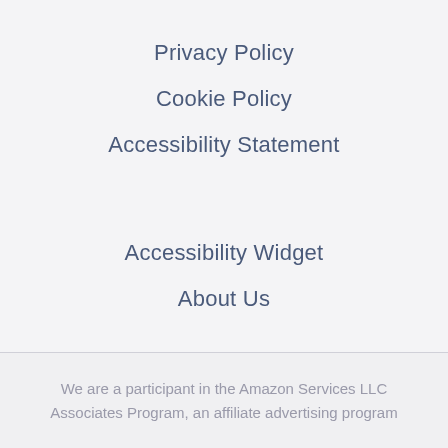Privacy Policy
Cookie Policy
Accessibility Statement
Accessibility Widget
About Us
We are a participant in the Amazon Services LLC Associates Program, an affiliate advertising program